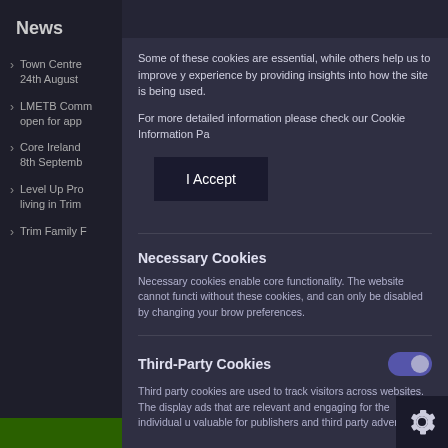News
Town Centre 24th August
LMETB Comm open for app
Core Ireland 8th Septemb
Level Up Pro living in Trim
Trim Family F
Some of these cookies are essential, while others help us to improve your experience by providing insights into how the site is being used.
For more detailed information please check our Cookie Information Pa
I Accept
Necessary Cookies
Necessary cookies enable core functionality. The website cannot functi without these cookies, and can only be disabled by changing your brow preferences.
Third-Party Cookies
Third party cookies are used to track visitors across websites. The display ads that are relevant and engaging for the individual u valuable for publishers and third party advertisers.